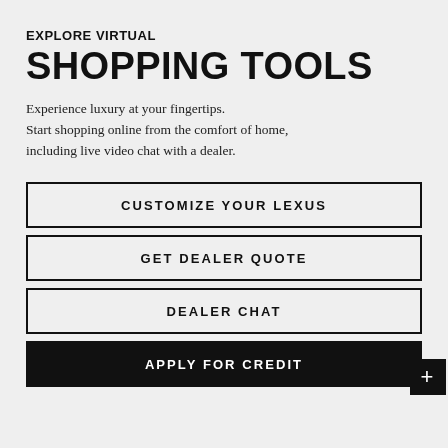EXPLORE VIRTUAL SHOPPING TOOLS
Experience luxury at your fingertips. Start shopping online from the comfort of home, including live video chat with a dealer.
CUSTOMIZE YOUR LEXUS
GET DEALER QUOTE
DEALER CHAT
APPLY FOR CREDIT